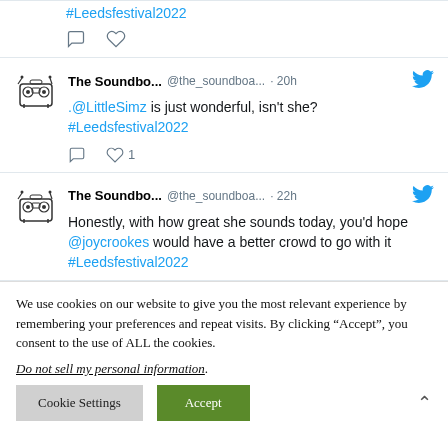#Leedsfestival2022 (partial top tweet hashtag)
The Soundbo... @the_soundboa... · 20h
.@LittleSimz is just wonderful, isn't she? #Leedsfestival2022
The Soundbo... @the_soundboa... · 22h
Honestly, with how great she sounds today, you'd hope @joycrookes would have a better crowd to go with it #Leedsfestival2022
We use cookies on our website to give you the most relevant experience by remembering your preferences and repeat visits. By clicking "Accept", you consent to the use of ALL the cookies.
Do not sell my personal information.